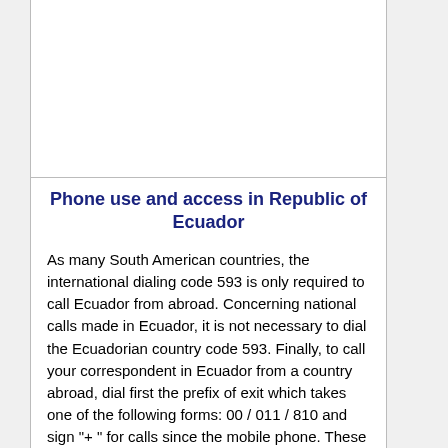Phone use and access in Republic of Ecuador
As many South American countries, the international dialing code 593 is only required to call Ecuador from abroad. Concerning national calls made in Ecuador, it is not necessary to dial the Ecuadorian country code 593. Finally, to call your correspondent in Ecuador from a country abroad, dial first the prefix of exit which takes one of the following forms: 00 / 011 / 810 and sign "+ " for calls since the mobile phone. These are possible compositions: 00593 / 810 593 / 011 593 / +593.